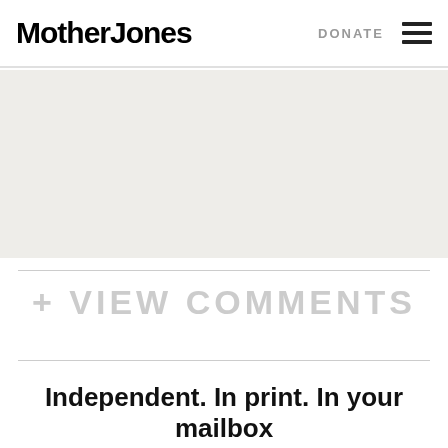Mother Jones   DONATE ☰
[Figure (other): Light gray/beige empty banner area below the header navigation]
+ VIEW COMMENTS
Independent. In print. In your mailbox